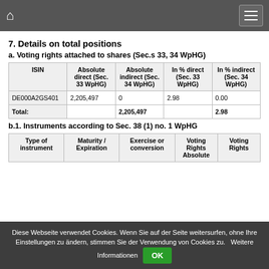7. Details on total positions
a. Voting rights attached to shares (Sec.s 33, 34 WpHG)
| ISIN | Absolute direct (Sec. 33 WpHG) | Absolute indirect (Sec. 34 WpHG) | In % direct (Sec. 33 WpHG) | In % indirect (Sec. 34 WpHG) |
| --- | --- | --- | --- | --- |
| DE000A2GS401 | 2,205,497 | 0 | 2.98 | 0.00 |
| Total: |  | 2,205,497 |  | 2.98 |
b.1. Instruments according to Sec. 38 (1) no. 1 WpHG
| Type of instrument | Maturity / Expiration | Exercise or conversion ... | Voting Rights Absolute | Voting Rights ... |
| --- | --- | --- | --- | --- |
Diese Webseite verwendet Cookies. Wenn Sie auf der Seite weitersurfen, ohne Ihre Einstellungen zu ändern, stimmen Sie der Verwendung von Cookies zu.   Weitere Informationen  OK